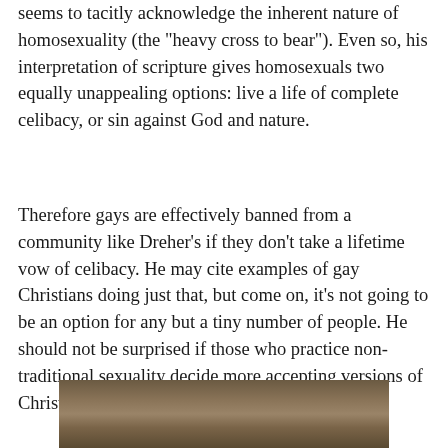seems to tacitly acknowledge the inherent nature of homosexuality (the "heavy cross to bear"). Even so, his interpretation of scripture gives homosexuals two equally unappealing options: live a life of complete celibacy, or sin against God and nature.
Therefore gays are effectively banned from a community like Dreher's if they don't take a lifetime vow of celibacy. He may cite examples of gay Christians doing just that, but come on, it's not going to be an option for any but a tiny number of people. He should not be surprised if those who practice non-traditional sexuality decide more accepting versions of Christianity are better.
[Figure (photo): A partial image at the bottom of the page showing what appears to be an outdoor or landscape scene with brown/earth tones.]